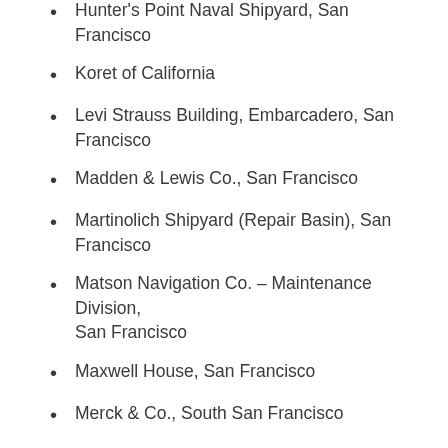Hunter's Point Naval Shipyard, San Francisco
Koret of California
Levi Strauss Building, Embarcadero, San Francisco
Madden & Lewis Co., San Francisco
Martinolich Shipyard (Repair Basin), San Francisco
Matson Navigation Co. – Maintenance Division, San Francisco
Maxwell House, San Francisco
Merck & Co., South San Francisco
Merck Chemical, South San Franciso
MJB Co., San Franscisco
Morrison & Bevilockway, San Francisco